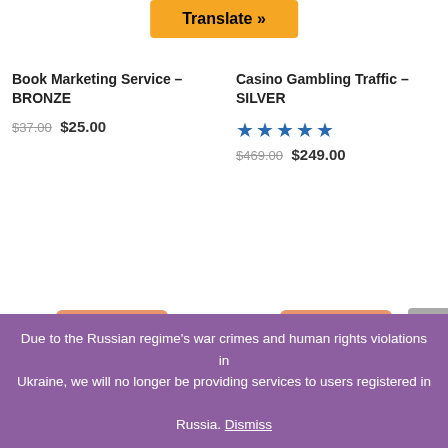Translate »
Book Marketing Service – BRONZE
$37.00 $25.00
Casino Gambling Traffic – SILVER
★★★★★ $469.00 $249.00
Sale!
Sale!
Due to the Russian regime's war crimes and human rights violations in Ukraine, we will no longer be providing services to users registered in Russia. Dismiss